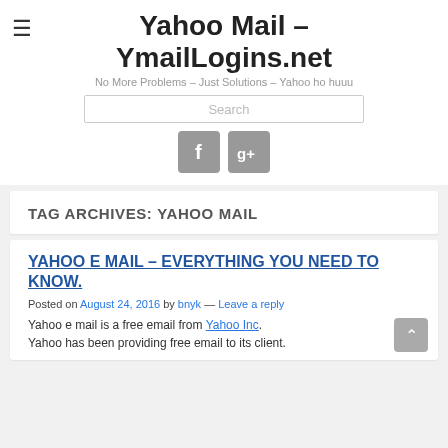Yahoo Mail – YmailLogins.net
No More Problems – Just Solutions – Yahoo ho huuu
[Figure (screenshot): Search input box and two social media icons (Facebook and Google+)]
TAG ARCHIVES: YAHOO MAIL
YAHOO E MAIL – EVERYTHING YOU NEED TO KNOW.
Posted on August 24, 2016 by bnyk — Leave a reply
Yahoo e mail is a free email from Yahoo Inc.
Yahoo has been providing free email to its client.